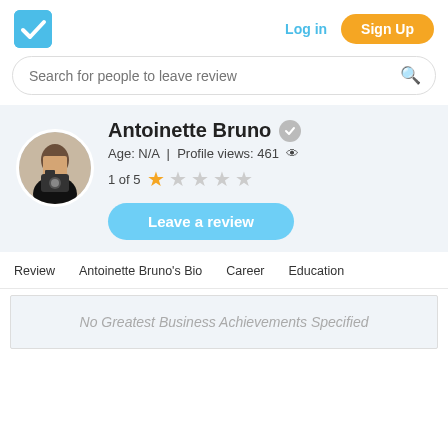Log in  Sign Up
Search for people to leave review
Antoinette Bruno
Age: N/A | Profile views: 461
1 of 5 ★☆☆☆☆
Leave a review
Review  Antoinette Bruno's Bio  Career  Education
No Greatest Business Achievements Specified